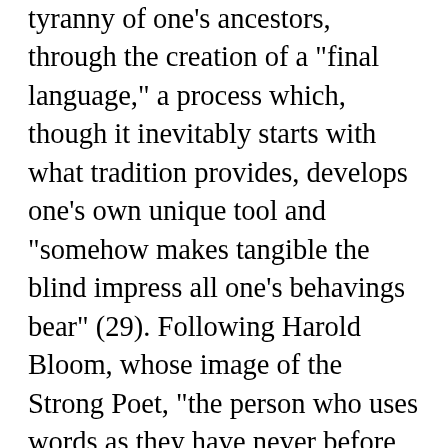tyranny of one's ancestors, through the creation of a "final language," a process which, though it inevitably starts with what tradition provides, develops one's own unique tool and "somehow makes tangible the blind impress all one's behavings bear" (29). Following Harold Bloom, whose image of the Strong Poet, "the person who uses words as they have never before been used, [and who] is best able to appreciate her own contingency" (28) Rorty warmly endorses, he sees the liberal ironist as horrified by the prospect of having to surrender to someone else's system and thus driven to seek the means to the Nietzschean affirmation: "Thus I willed it." Such self-